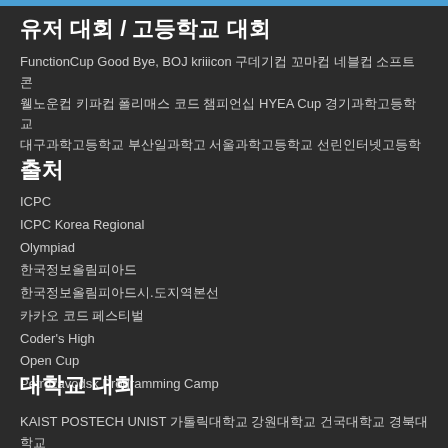유저 대회 / 고등학교 대회
FunctionCup Good Bye, BOJ kriiicon 구데기컵 꼬마컵 네블컵 소프트콘 웰노운컵 키파컵 폴리매스 코드 챔피언십 HYEA Cup 경기과학고등학교 대구과학고등학교 부산일과학고 서울과학고등학교 선린인터넷고등학교
출처
ICPC
ICPC Korea Regional
Olympiad
한국정보올림피아드
한국정보올림피아드시.도지역본선
카카오 코드 페스티벌
Coder's High
Open Cup
Petrozavodsk Programming Camp
대학교 대회
KAIST POSTECH UNIST 가톨릭대학교 강원대학교 건국대학교 경북대학교 고려대학교 광주과학기술원 국민대학교 서강대학교 서울대학교 성균관대학교 숙실대학교 아주대학교 연세대학교 인천대학교 인하대학교